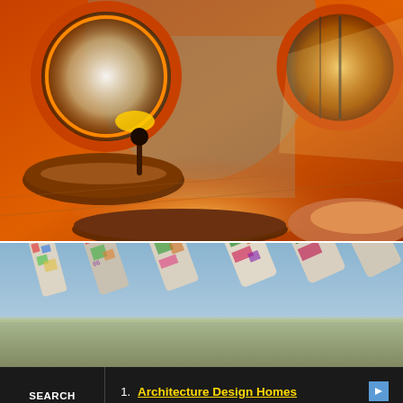[Figure (photo): Interior of a retro/futuristic bubble-shaped home with orange curved walls, circular windows, and warm amber lighting on wooden floors with organic-shaped furniture]
[Figure (photo): Outdoor photo of graffiti-covered cars buried nose-first in the ground (Cadillac Ranch), lined up diagonally under a blue sky]
SEARCH FOR
1. Architecture Design Homes
2. Abandoned Homes for Free